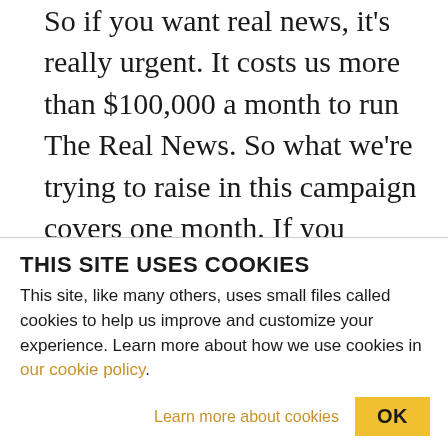So if you want real news, it's really urgent. It costs us more than $100,000 a month to run The Real News. So what we're trying to raise in this campaign covers one month. If you haven't donated, we really need you to do it now. It's urgent that we meet this matching grant, and it's only a few days away. So please donate. It's tax-deductible in the United States and Canada. You have a possibility of getting all these books. If you can't donate at that level, any level matters–$5 dollars, $10, $2, $1, all of that makes a difference. So please donate and help us make real news.
THIS SITE USES COOKIES
This site, like many others, uses small files called cookies to help us improve and customize your experience. Learn more about how we use cookies in our cookie policy.
Learn more about cookies   OK